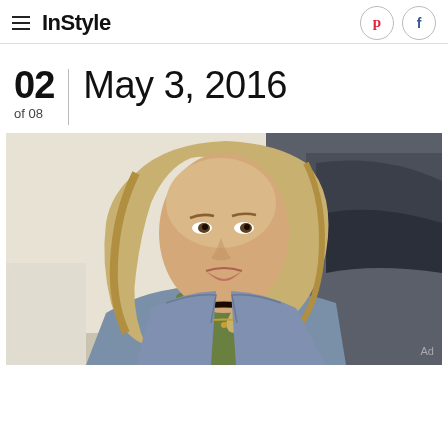InStyle
02 of 08 | May 3, 2016
[Figure (photo): Young blonde woman wearing a black choker necklace and denim jacket, standing in front of a dark car, photographed outdoors.]
Ad